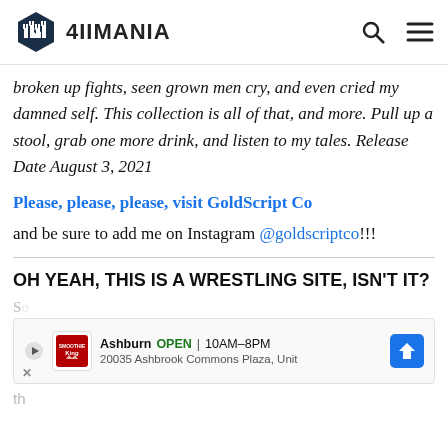4IIMANIA
broken up fights, seen grown men cry, and even cried my damned self. This collection is all of that, and more. Pull up a stool, grab one more drink, and listen to my tales. Release Date August 3, 2021
Please, please, please, visit GoldScript Co
and be sure to add me on Instagram @goldscriptco!!!
OH YEAH, THIS IS A WRESTLING SITE, ISN'T IT?
[Figure (screenshot): Advertisement banner showing Smoothie King location in Ashburn, OPEN 10AM-8PM, 20035 Ashbrook Commons Plaza, Unit]